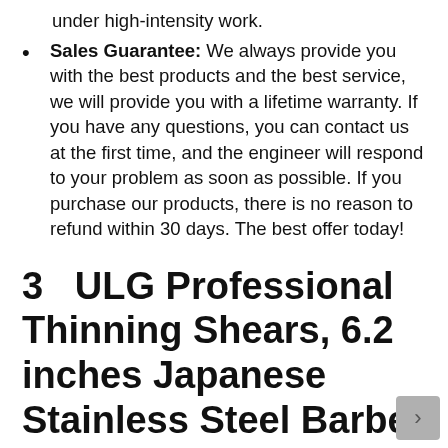under high-intensity work.
Sales Guarantee: We always provide you with the best products and the best service, we will provide you with a lifetime warranty. If you have any questions, you can contact us at the first time, and the engineer will respond to your problem as soon as possible. If you purchase our products, there is no reason to refund within 30 days. The best offer today!
3   ULG Professional Thinning Shears, 6.2 inches Japanese Stainless Steel Barber Haircut